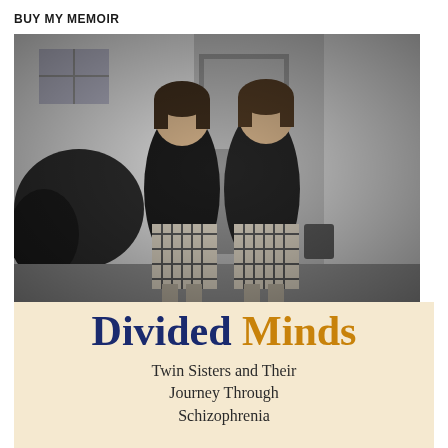BUY MY MEMOIR
[Figure (photo): Black and white photograph of two young twin girls standing outside a house, wearing matching dark cardigans and plaid skirts, looking downward.]
Divided Minds
Twin Sisters and Their Journey Through Schizophrenia